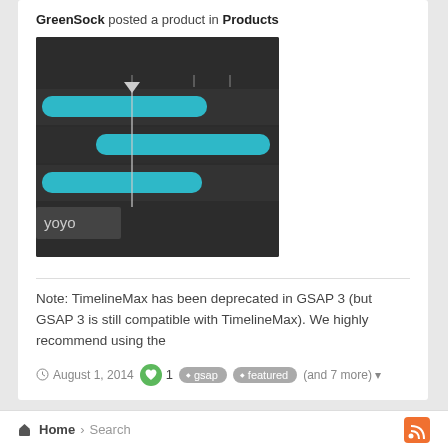GreenSock posted a product in Products
[Figure (screenshot): Dark-themed animation timeline UI with cyan/teal horizontal bars at different lengths on dark gray tracks, a vertical playhead marker, tick marks, and a 'yoyo' label in lower-left corner.]
Note: TimelineMax has been deprecated in GSAP 3 (but GSAP 3 is still compatible with TimelineMax). We highly recommend using the
August 1, 2014  1  gsap  featured  (and 7 more)
Home > Search